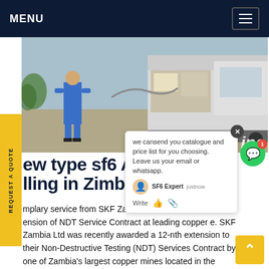MENU
[Figure (photo): Worker in blue overalls working at the back of a truck with equipment, outdoor setting]
REQUEST A QUOTE
ew type sf6 Alter
ling in Zimbabw
we cansend you catalogue and price list for you choosing. Leave us your email or whatsapp.
SF6 Expert  justnow
Write
mplary service from SKF Zambia
ension of NDT Service Contract at leading copper e. SKF Zambia Ltd was recently awarded a 12-nth extension to their Non-Destructive Testing (NDT) Services Contract by one of Zambia's largest copper mines located in the country's North-Western Province. 2021.10.05.Get price